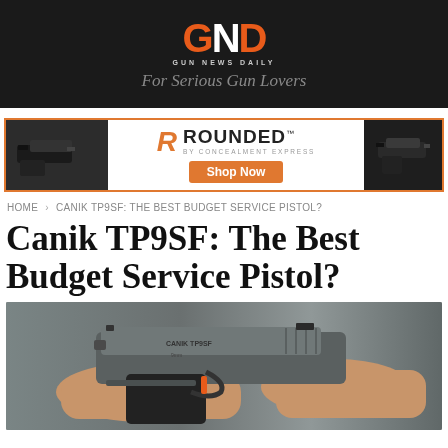GND GUN NEWS DAILY – For Serious Gun Lovers
[Figure (infographic): ROUNDED by Concealment Express advertisement banner with holsters on left and right, orange R logo, brand name ROUNDED, and Shop Now orange button]
HOME › CANIK TP9SF: THE BEST BUDGET SERVICE PISTOL?
Canik TP9SF: The Best Budget Service Pistol?
[Figure (photo): Photo of hands holding a Canik TP9SF pistol, showing the slide and grip against a blurred background of shelves]